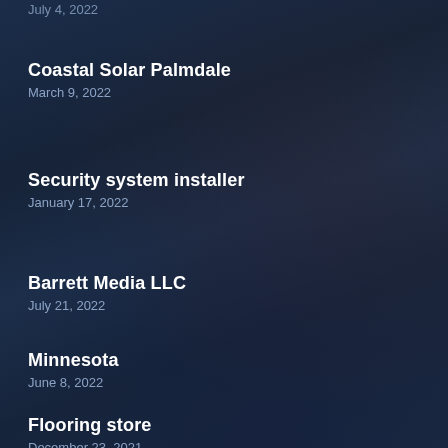July 4, 2022 (clipped)
Coastal Solar Palmdale
March 9, 2022
Security system installer
January 17, 2022
Barrett Media LLC
July 21, 2022
Minnesota
June 8, 2022
Flooring store
December 23, 2021